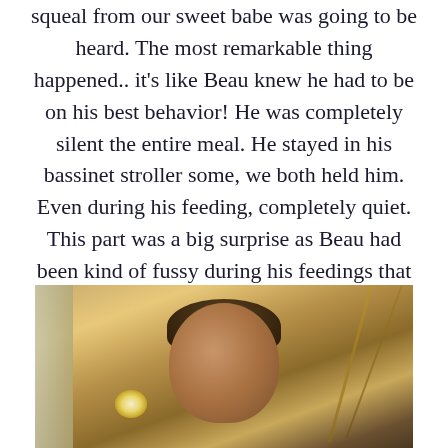squeal from our sweet babe was going to be heard. The most remarkable thing happened.. it's like Beau knew he had to be on his best behavior! He was completely silent the entire meal. He stayed in his bassinet stroller some, we both held him. Even during his feeding, completely quiet. This part was a big surprise as Beau had been kind of fussy during his feedings that day, maybe because they were taking place in the weirdest places!
[Figure (photo): A person (man with short dark hair) photographed indoors, possibly in an airplane cabin or similar warm-lit interior. Warm golden/amber tones with diagonal lines suggesting cabin walls or curtains in background.]